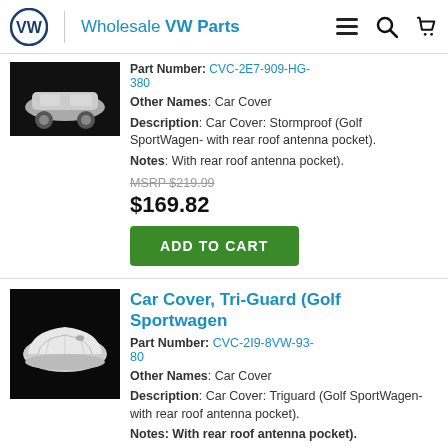Wholesale VW Parts
Part Number: CVC-2E7-909-HG-380
Other Names: Car Cover
Description: Car Cover: Stormproof (Golf SportWagen- with rear roof antenna pocket).
Notes: With rear roof antenna pocket).
MSRP $219.99
$169.82
ADD TO CART
Car Cover, Tri-Guard (Golf Sportwagen
Part Number: CVC-2I9-8VW-93-80
Other Names: Car Cover
Description: Car Cover: Triguard (Golf SportWagen- with rear roof antenna pocket).
Notes: With rear roof antenna pocket).